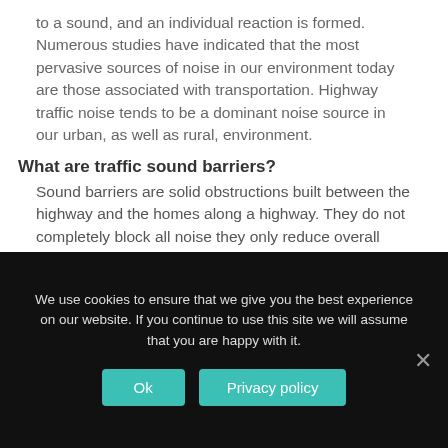to a sound, and an individual reaction is formed. Numerous studies have indicated that the most pervasive sources of noise in our environment today are those associated with transportation. Highway traffic noise tends to be a dominant noise source in our urban, as well as rural, environment.
What are traffic sound barriers?
Sound barriers are solid obstructions built between the highway and the homes along a highway. They do not completely block all noise they only reduce overall noise levels. Effective noise barriers typically reduce noise levels by 5 to 10 decibels (dB), cutting the loudness of traffic noise by as much as one half. For example, a barrier which achieves a 10-dB reduction can reduce the sound
We use cookies to ensure that we give you the best experience on our website. If you continue to use this site we will assume that you are happy with it.